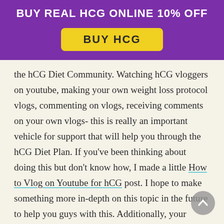BUY REAL HCG ONLINE 10% OFF
[Figure (other): Yellow button with bold text 'BUY HCG' on purple banner background]
the hCG Diet Community.  Watching hCG vloggers on youtube, making your own weight loss protocol vlogs, commenting on vlogs, receiving comments on your own vlogs- this is really an important vehicle for support that will help you through the hCG Diet Plan.  If you've been thinking about doing this but don't know how, I made a little How to Vlog on Youtube for hCG post.  I hope to make something more in-depth on this topic in the future to help you guys with this.  Additionally, your helping others on the diet by watching and commenting on their videos does a world of good for them!  This kind of give